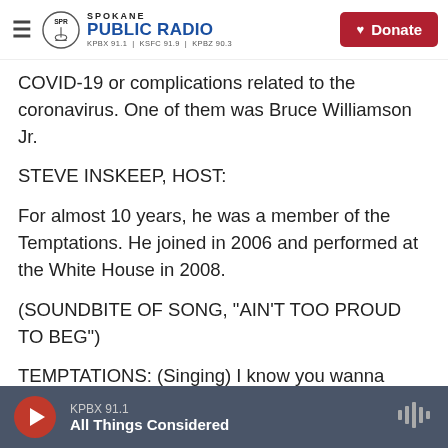Spokane Public Radio — KPBX 91.1 | KSFC 91.9 | KPBZ 90.3 — Donate
COVID-19 or complications related to the coronavirus. One of them was Bruce Williamson Jr.
STEVE INSKEEP, HOST:
For almost 10 years, he was a member of the Temptations. He joined in 2006 and performed at the White House in 2008.
(SOUNDBITE OF SONG, "AIN'T TOO PROUD TO BEG")
TEMPTATIONS: (Singing) I know you wanna leave me, but I refuse to let you go.
KPBX 91.1 — All Things Considered